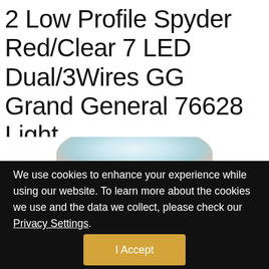2 Low Profile Spyder Red/Clear 7 LED Dual/3Wires GG Grand General 76628 Light
[Figure (photo): Partial view of a low profile LED light product, showing the curved top of a red/clear spyder-style marker light against a white background]
We use cookies to enhance your experience while using our website. To learn more about the cookies we use and the data we collect, please check our Privacy Settings.
I Accept